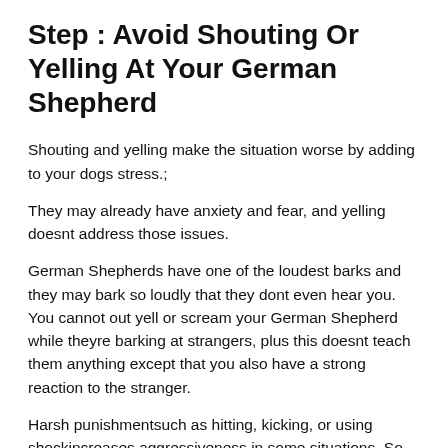Step : Avoid Shouting Or Yelling At Your German Shepherd
Shouting and yelling make the situation worse by adding to your dogs stress.;
They may already have anxiety and fear, and yelling doesnt address those issues.
German Shepherds have one of the loudest barks and they may bark so loudly that they dont even hear you. You cannot out yell or scream your German Shepherd while theyre barking at strangers, plus this doesnt teach them anything except that you also have a strong reaction to the stranger.
Harsh punishmentsuch as hitting, kicking, or using shockincreases aggressiveness in some situations. So, dont